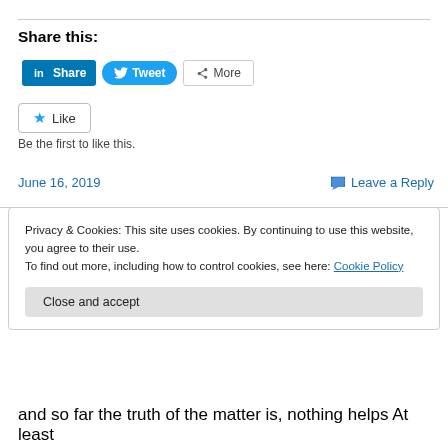Share this:
[Figure (screenshot): Social sharing buttons: LinkedIn Share, Twitter Tweet, More]
[Figure (screenshot): Like button with star icon]
Be the first to like this.
June 16, 2019
Leave a Reply
Privacy & Cookies: This site uses cookies. By continuing to use this website, you agree to their use. To find out more, including how to control cookies, see here: Cookie Policy
Close and accept
and so far the truth of the matter is, nothing helps At least